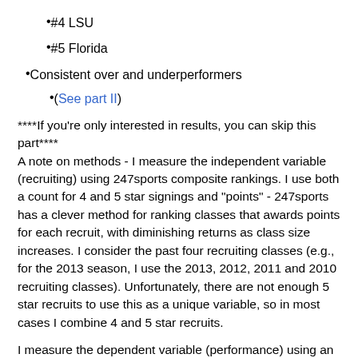#4 LSU
#5 Florida
Consistent over and underperformers
(See part II)
****If you're only interested in results, you can skip this part****
A note on methods - I measure the independent variable (recruiting) using 247sports composite rankings. I use both a count for 4 and 5 star signings and "points" - 247sports has a clever method for ranking classes that awards points for each recruit, with diminishing returns as class size increases. I consider the past four recruiting classes (e.g., for the 2013 season, I use the 2013, 2012, 2011 and 2010 recruiting classes). Unfortunately, there are not enough 5 star recruits to use this as a unique variable, so in most cases I combine 4 and 5 star recruits.
I measure the dependent variable (performance) using an